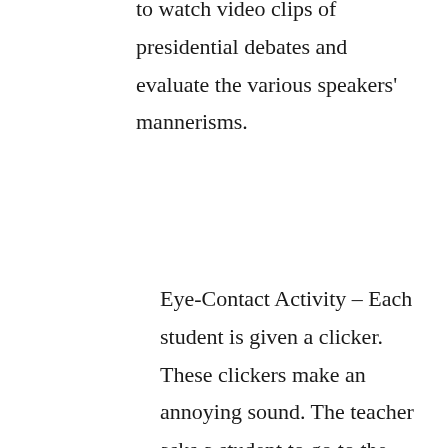to watch video clips of presidential debates and evaluate the various speakers' mannerisms.
Eye-Contact Activity – Each student is given a clicker. These clickers make an annoying sound. The teacher asks a student to go to the front of the room and speak on a topic that he knows well and can talk about comfortably. Once the student begins, the